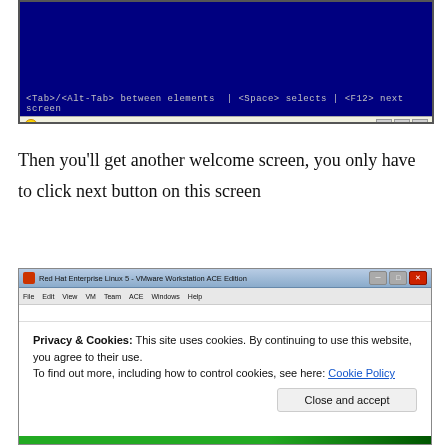[Figure (screenshot): VMware virtual machine blue screen with <Tab>/<Alt-Tab> between elements | <Space> selects | <F12> next screen text, and a VMware Tools warning bar at bottom]
Then you'll get another welcome screen, you only have to click next button on this screen
[Figure (screenshot): Red Hat Enterprise Linux 5 VMware Workstation ACE Edition window showing a cookie consent overlay with Close and accept button]